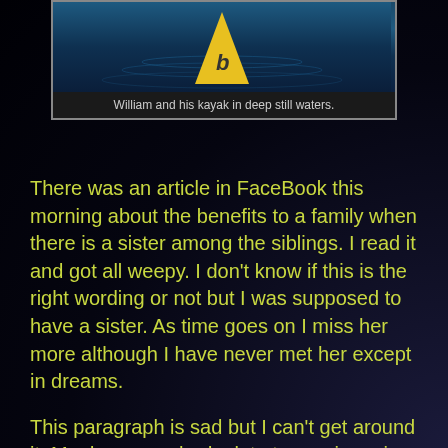[Figure (photo): Photo of a yellow kayak with letter 'b' on it floating in deep still blue waters, shown from above. Below the photo is a caption.]
William and his kayak in deep still waters.
There was an article in FaceBook this morning about the benefits to a family when there is a sister among the siblings. I read it and got all weepy. I don't know if this is the right wording or not but I was supposed to have a sister. As time goes on I miss her more although I have never met her except in dreams.
This paragraph is sad but I can't get around it. My dear mom had a late term miscarriage before I was born. We never talked about it, one of those deals. Then when I was going through my folks' bank deposit box I came across the autopsy report all